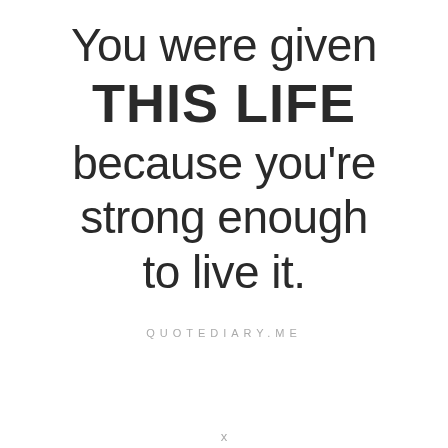You were given THIS LIFE because you're strong enough to live it.
QUOTEDIARY.ME